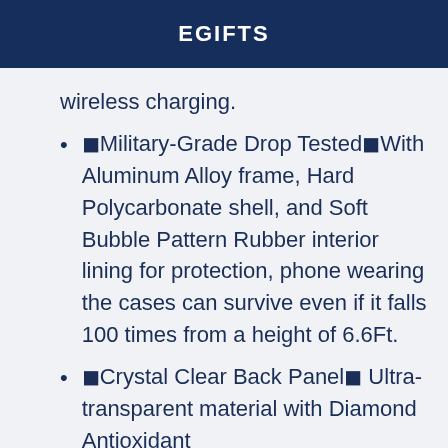EGIFTS
wireless charging.
🔵Military-Grade Drop Tested🔵With Aluminum Alloy frame, Hard Polycarbonate shell, and Soft Bubble Pattern Rubber interior lining for protection, phone wearing the cases can survive even if it falls 100 times from a height of 6.6Ft.
🔵Crystal Clear Back Panel🔵 Ultra-transparent material with Diamond Antioxidant